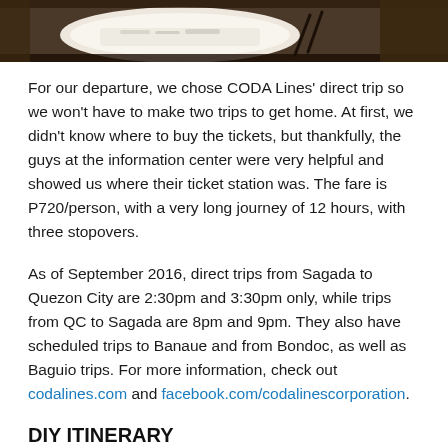[Figure (photo): Top portion of a photo showing a plate of white rice with chopsticks on a wooden table surface]
For our departure, we chose CODA Lines' direct trip so we won't have to make two trips to get home. At first, we didn't know where to buy the tickets, but thankfully, the guys at the information center were very helpful and showed us where their ticket station was. The fare is P720/person, with a very long journey of 12 hours, with three stopovers.
As of September 2016, direct trips from Sagada to Quezon City are 2:30pm and 3:30pm only, while trips from QC to Sagada are 8pm and 9pm. They also have scheduled trips to Banaue and from Bondoc, as well as Baguio trips. For more information, check out codalines.com and facebook.com/codalinescorporation.
DIY ITINERARY
Here's our actual DIY itinerary: